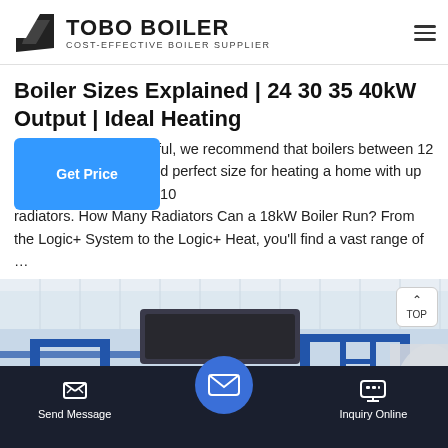TOBO BOILER — COST-EFFECTIVE BOILER SUPPLIER
Boiler Sizes Explained | 24 30 35 40kW Output | Ideal Heating
…erful, we recommend that boilers between 12 and perfect size for heating a home with up to 10 radiators. How Many Radiators Can a 18kW Boiler Run? From the Logic+ System to the Logic+ Heat, you'll find a vast range of …
[Figure (photo): Industrial boiler facility interior showing blue metal framework, pipes (including red pipes), a ladder, and large cylindrical equipment under a white corrugated roof.]
Send Message | Inquiry Online